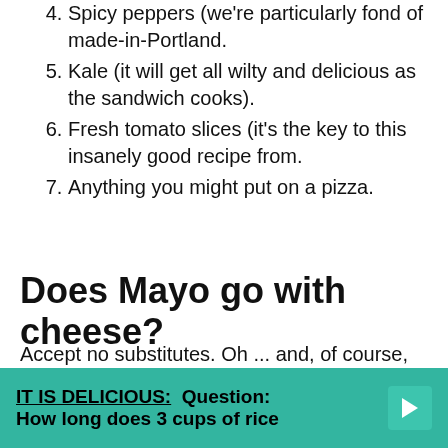4. Spicy peppers (we're particularly fond of made-in-Portland.
5. Kale (it will get all wilty and delicious as the sandwich cooks).
6. Fresh tomato slices (it's the key to this insanely good recipe from.
7. Anything you might put on a pizza.
Does Mayo go with cheese?
Accept no substitutes. Oh ... and, of course, every cheese sandwich needs a dollop of mayonnaise. For moisture, for slick mouthfeel, for a little vinegary tang.
IT IS DELICIOUS:  Question: How long does 3 cups of rice